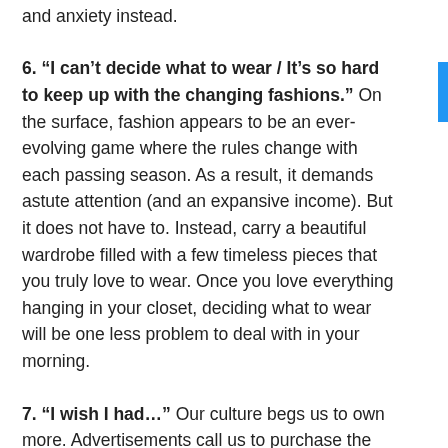and anxiety instead.
6. “I can’t decide what to wear / It’s so hard to keep up with the changing fashions.” On the surface, fashion appears to be an ever-evolving game where the rules change with each passing season. As a result, it demands astute attention (and an expansive income). But it does not have to. Instead, carry a beautiful wardrobe filled with a few timeless pieces that you truly love to wear. Once you love everything hanging in your closet, deciding what to wear will be one less problem to deal with in your morning.
7. “I wish I had…” Our culture begs us to own more. Advertisements call us to purchase the latest and the greatest. Our natural tendencies